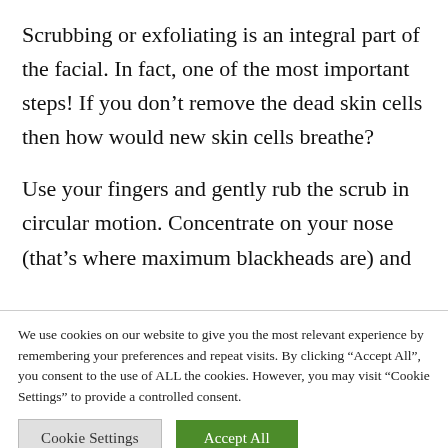Scrubbing or exfoliating is an integral part of the facial. In fact, one of the most important steps! If you don't remove the dead skin cells then how would new skin cells breathe?
Use your fingers and gently rub the scrub in circular motion. Concentrate on your nose (that's where maximum blackheads are) and
We use cookies on our website to give you the most relevant experience by remembering your preferences and repeat visits. By clicking "Accept All", you consent to the use of ALL the cookies. However, you may visit "Cookie Settings" to provide a controlled consent.